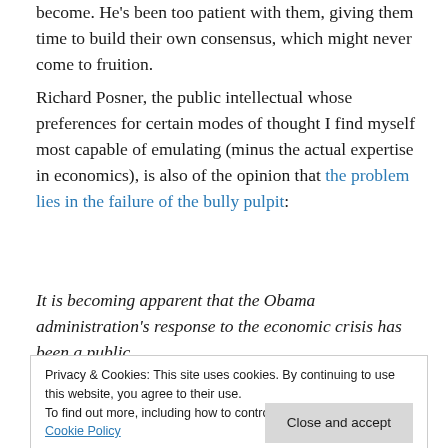become. He's been too patient with them, giving them time to build their own consensus, which might never come to fruition.
Richard Posner, the public intellectual whose preferences for certain modes of thought I find myself most capable of emulating (minus the actual expertise in economics), is also of the opinion that the problem lies in the failure of the bully pulpit:
It is becoming apparent that the Obama administration's response to the economic crisis has been a public
Privacy & Cookies: This site uses cookies. By continuing to use this website, you agree to their use.
To find out more, including how to control cookies, see here: Cookie Policy
behind the stimulus, and its clumsy efforts to quantify the